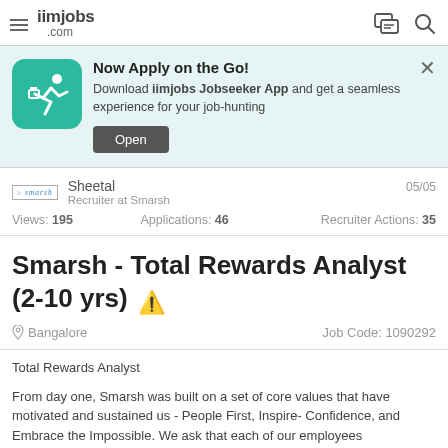iimjobs .com
Now Apply on the Go! Download iimjobs Jobseeker App and get a seamless experience for your job-hunting
Open
Sheetal
Recruiter at Smarsh
05/05
Views: 195    Applications: 46    Recruiter Actions: 35
Smarsh - Total Rewards Analyst (2-10 yrs) ⚠
Bangalore    Job Code: 1090292
Total Rewards Analyst
From day one, Smarsh was built on a set of core values that have motivated and sustained us - People First, Inspire- Confidence, and Embrace the Impossible. We ask that each of our employees